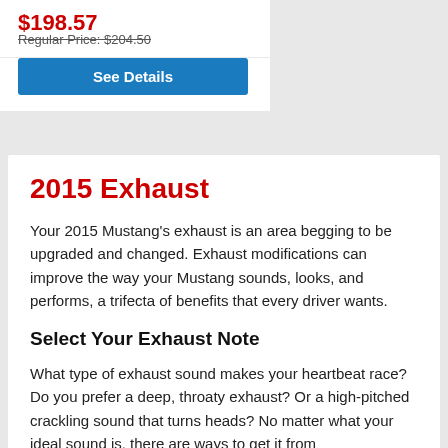$198.57
Regular Price: $204.50
See Details
2015 Exhaust
Your 2015 Mustang's exhaust is an area begging to be upgraded and changed. Exhaust modifications can improve the way your Mustang sounds, looks, and performs, a trifecta of benefits that every driver wants.
Select Your Exhaust Note
What type of exhaust sound makes your heartbeat race? Do you prefer a deep, throaty exhaust? Or a high-pitched crackling sound that turns heads? No matter what your ideal sound is, there are ways to get it from